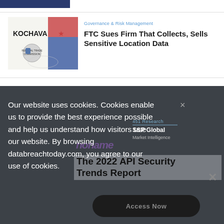[Figure (screenshot): Blue banner/thumbnail at top of page]
[Figure (illustration): Kochava and Federal Trade Commission logos combined image with US flag colors]
Governance & Risk Management
FTC Sues Firm That Collects, Sells Sensitive Location Data
Our website uses cookies. Cookies enable us to provide the best experience possible and help us understand how visitors use our website. By browsing databreachtoday.com, you agree to our use of cookies.
[Figure (logo): 451 Research / S&P Global Market Intelligence logo]
The 2022 API Security Trends Report
Access Now